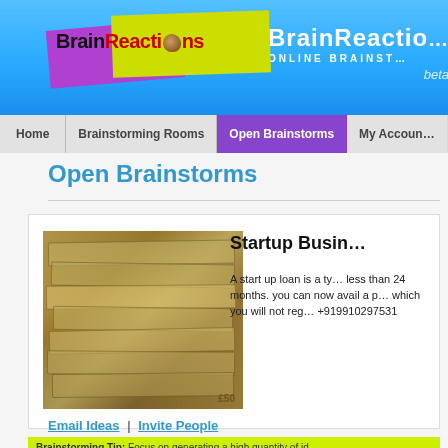BrainReactions ONLINE BRAINSTORMING beta
Home | Brainstorming Rooms | Open Brainstorms | My Account
Open Brainstorms
[Figure (photo): Stacks of British £50 banknotes piled on top of each other]
Startup Busin...
A start up loan is a ty... less than 24 months. you can now avail a p... which you will not reg... +919910297531
Email Ideas | Invite People
Brainstorming Tip: Focus on generating a high quantity of id...